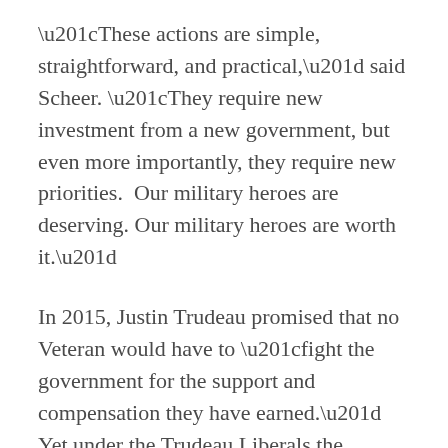“These actions are simple, straightforward, and practical,” said Scheer. “They require new investment from a new government, but even more importantly, they require new priorities.  Our military heroes are deserving. Our military heroes are worth it.”
In 2015, Justin Trudeau promised that no Veteran would have to “fight the government for the support and compensation they have earned.”  Yet under the Trudeau Liberals the number